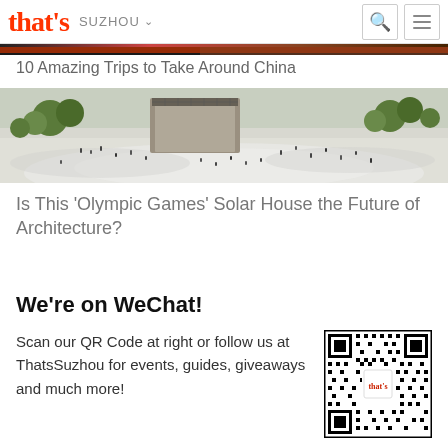that's  SUZHOU
10 Amazing Trips to Take Around China
[Figure (photo): Aerial photograph of a crowded outdoor area with modern architecture, trees, and many people walking — solar house building]
Is This 'Olympic Games' Solar House the Future of Architecture?
We're on WeChat!
Scan our QR Code at right or follow us at ThatsSuzhou for events, guides, giveaways and much more!
[Figure (other): QR code for ThatsSuzhou WeChat account with 'that's' logo in the center]